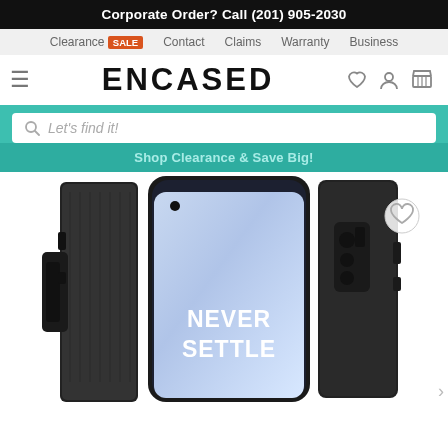Corporate Order? Call (201) 905-2030
Clearance SALE  Contact  Claims  Warranty  Business
ENCASED
[Figure (screenshot): Encased website header with logo, navigation, teal search bar with 'Let's find it!' placeholder, clearance banner, and OnePlus phone case product image showing 'NEVER SETTLE' on screen]
Shop Clearance & Save Big!